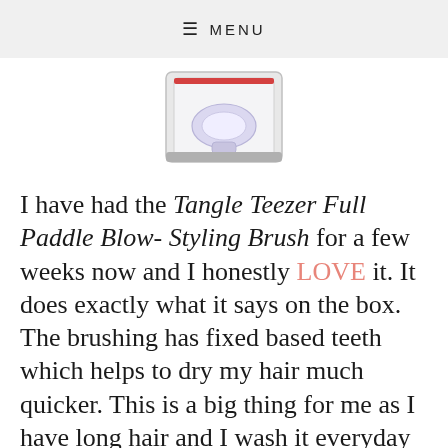≡ MENU
[Figure (photo): Product image of the Tangle Teezer Full Paddle Blow-Styling Brush in its clear plastic packaging, partially visible at the top of the page. The brush appears to be a white/lavender paddle brush in a clear box with red accents.]
I have had the Tangle Teezer Full Paddle Blow- Styling Brush for a few weeks now and I honestly LOVE it. It does exactly what it says on the box. The brushing has fixed based teeth which helps to dry my hair much quicker. This is a big thing for me as I have long hair and I wash it everyday (naughty I know). I also feel like my hair is much smoother/shiner and I don't